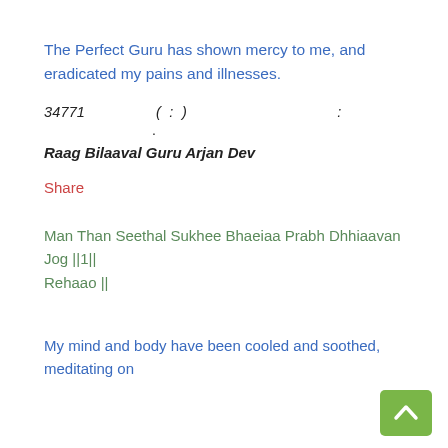The Perfect Guru has shown mercy to me, and eradicated my pains and illnesses.
34771   ( : )   :
.
Raag Bilaaval Guru Arjan Dev
Share
Man Than Seethal Sukhee Bhaeiaa Prabh Dhhiaavan Jog ||1|| Rehaao ||
My mind and body have been cooled and soothed, meditating on